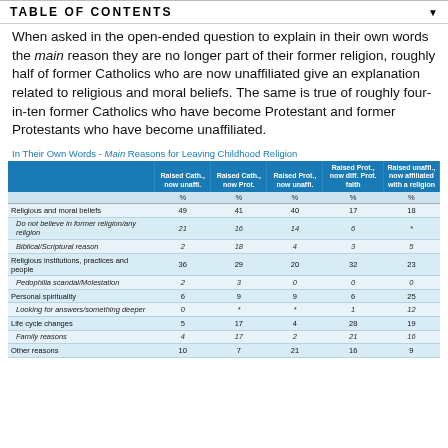TABLE OF CONTENTS
When asked in the open-ended question to explain in their own words the main reason they are no longer part of their former religion, roughly half of former Catholics who are now unaffiliated give an explanation related to religious and moral beliefs. The same is true of roughly four-in-ten former Catholics who have become Protestant and former Protestants who have become unaffiliated.
In Their Own Words - Main Reasons for Leaving Childhood Religion
|  | Raised Cath., now unaffi. | Raised Cath., now Prot. | Raised Prot., now unaffi. | Raised Prot., now diff. Prot. faith | Raised unaffi., now affiliated with a religion |
| --- | --- | --- | --- | --- | --- |
|  | % | % | % | % | % |
| Religious and moral beliefs | 49 | 41 | 40 | 17 | 18 |
| Do not believe in former religion/any religion | 21 | 16 | 14 | 6 | * |
| Biblical/Scriptural reason | 2 | 18 | 4 | 3 | 5 |
| Religious institutions, practices and people | 36 | 29 | 20 | 32 | 23 |
| Pedophilia scandal/Molestation | 2 | 3 | 0 | 0 | 0 |
| Personal spirituality | 6 | 9 | 9 | 6 | 25 |
| Looking for answers/something deeper | 0 | * | * | 1 | 12 |
| Life cycle changes | 5 | 17 | 4 | 28 | 19 |
| Family reasons | 4 | 17 | 2 | 21 | 16 |
| Other reasons | 10 | 7 | 21 | 16 | 9 |